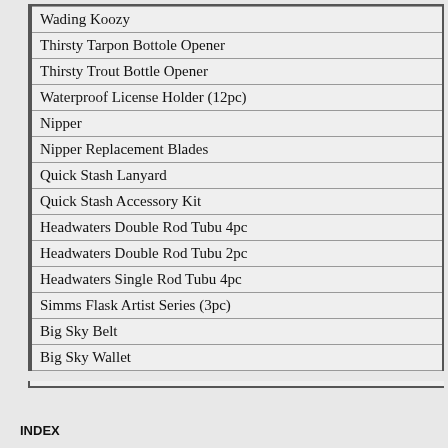| Wading Koozy |
| Thirsty Tarpon Bottole Opener |
| Thirsty Trout Bottle Opener |
| Waterproof License Holder (12pc) |
| Nipper |
| Nipper Replacement Blades |
| Quick Stash Lanyard |
| Quick Stash Accessory Kit |
| Headwaters Double Rod Tubu 4pc |
| Headwaters Double Rod Tubu 2pc |
| Headwaters Single Rod Tubu 4pc |
| Simms Flask Artist Series (3pc) |
| Big Sky Belt |
| Big Sky Wallet |
INDEX